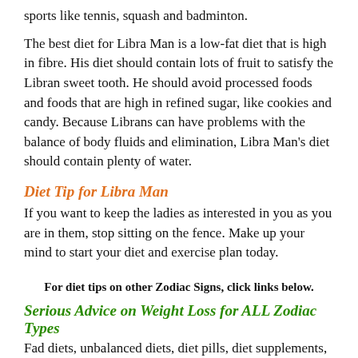sports like tennis, squash and badminton.
The best diet for Libra Man is a low-fat diet that is high in fibre. His diet should contain lots of fruit to satisfy the Libran sweet tooth. He should avoid processed foods and foods that are high in refined sugar, like cookies and candy. Because Librans can have problems with the balance of body fluids and elimination, Libra Man's diet should contain plenty of water.
Diet Tip for Libra Man
If you want to keep the ladies as interested in you as you are in them, stop sitting on the fence. Make up your mind to start your diet and exercise plan today.
For diet tips on other Zodiac Signs, click links below.
Serious Advice on Weight Loss for ALL Zodiac Types
Fad diets, unbalanced diets, diet pills, diet supplements, fasting